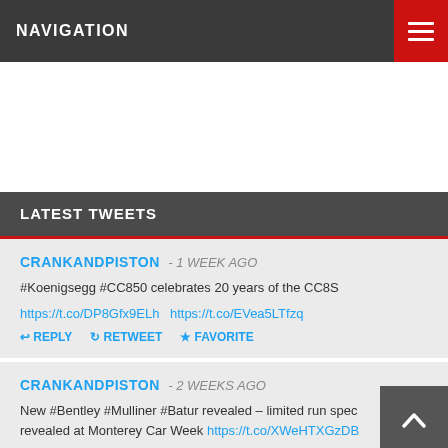NAVIGATION
LATEST TWEETS
CRANKANDPISTON - 1 WEEK AGO
#Koenigsegg #CC850 celebrates 20 years of the CC8S
https://t.co/DP8Gfx9ELh https://t.co/EVea5LTfzq
REPLY RETWEET FAVORITE
CRANKANDPISTON - 2 WEEKS AGO
New #Bentley #Mulliner #Batur revealed – limited run spec revealed at Monterey Car Week https://t.co/XWeHTXGzDB